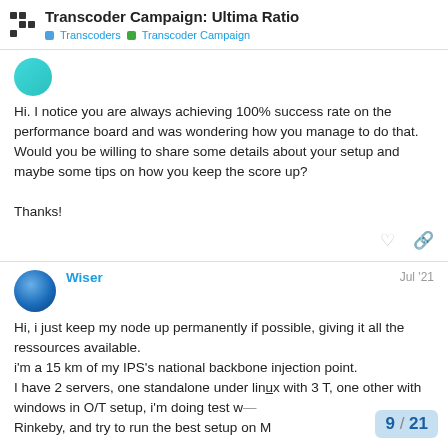Transcoder Campaign: Ultima Ratio | Transcoders | Transcoder Campaign
Hi. I notice you are always achieving 100% success rate on the performance board and was wondering how you manage to do that. Would you be willing to share some details about your setup and maybe some tips on how you keep the score up?

Thanks!
Wiser Jul '21
Hi, i just keep my node up permanently if possible, giving it all the ressources available.
i'm a 15 km of my IPS's national backbone injection point.
I have 2 servers, one standalone under linux with 3 T, one other with windows in O/T setup, i'm doing test w... Rinkeby, and try to run the best setup on M...